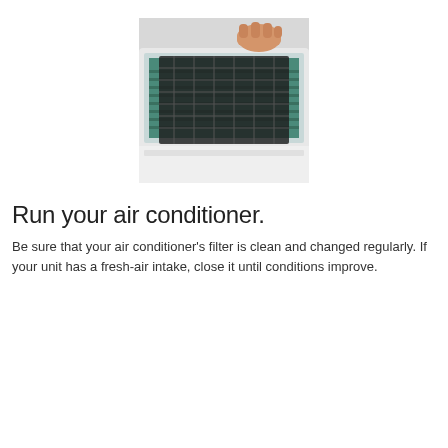[Figure (photo): Person removing/inserting a dark mesh filter from a wall-mounted air conditioning unit]
Run your air conditioner.
Be sure that your air conditioner's filter is clean and changed regularly. If your unit has a fresh-air intake, close it until conditions improve.